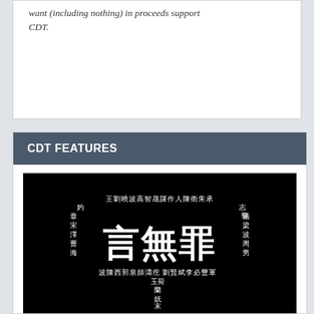want (including nothing) in proceeds support CDT.
CDT FEATURES
[Figure (photo): Black background image with large Chinese characters '言無罪' (Speech Is Not a Crime) in the center, surrounded by smaller Chinese text listing names arranged in a border pattern around the central text. A row of slider dots appears at the top right.]